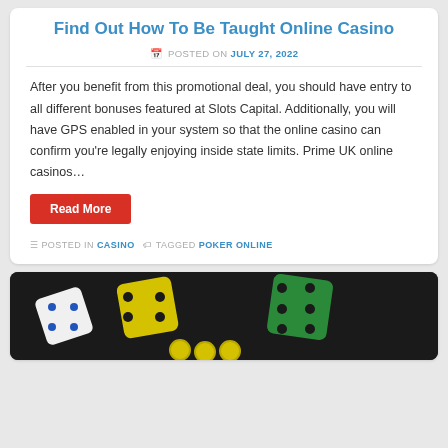Find Out How To Be Taught Online Casino
POSTED ON JULY 27, 2022
After you benefit from this promotional deal, you should have entry to all different bonuses featured at Slots Capital. Additionally, you will have GPS enabled in your system so that the online casino can confirm you're legally enjoying inside state limits. Prime UK online casinos…
Read More
POSTED IN CASINO  TAGGED POKER ONLINE
[Figure (photo): Colorful dice (yellow and green) with a white die and poker chips on a dark background]